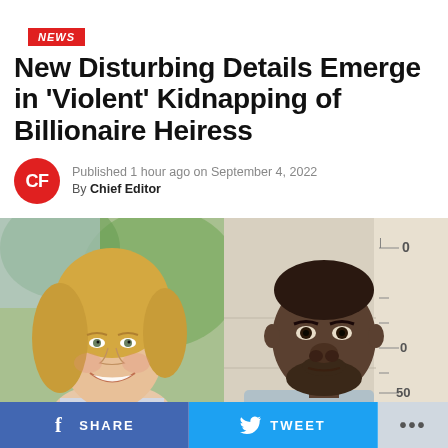NEWS
New Disturbing Details Emerge in 'Violent' Kidnapping of Billionaire Heiress
Published 1 hour ago on September 4, 2022
By Chief Editor
[Figure (photo): Side-by-side photos: left shows a smiling blonde woman outdoors; right shows a mugshot of a man against a measurement wall.]
SHARE   TWEET   ...